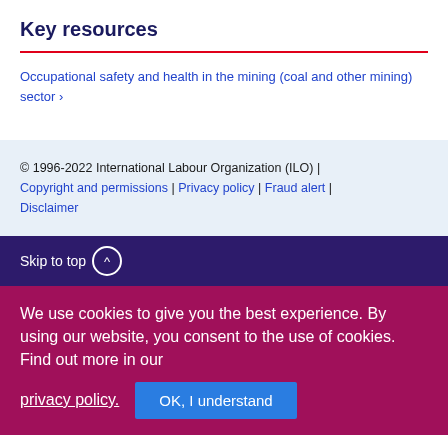Key resources
Occupational safety and health in the mining (coal and other mining) sector ›
© 1996-2022 International Labour Organization (ILO) | Copyright and permissions | Privacy policy | Fraud alert | Disclaimer
Skip to top ^
We use cookies to give you the best experience. By using our website, you consent to the use of cookies. Find out more in our privacy policy. OK, I understand